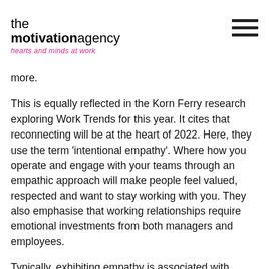the motivation agency — hearts and minds at work
more.
This is equally reflected in the Korn Ferry research exploring Work Trends for this year. It cites that reconnecting will be at the heart of 2022. Here, they use the term 'intentional empathy'. Where how you operate and engage with your teams through an empathic approach will make people feel valued, respected and want to stay working with you. They also emphasise that working relationships require emotional investments from both managers and employees.
Typically, exhibiting empathy is associated with compassion when people are distressed or need emotional support. Practically, while we are in the infancy of coming through the other side of the pandemic, we should not see having empathy in